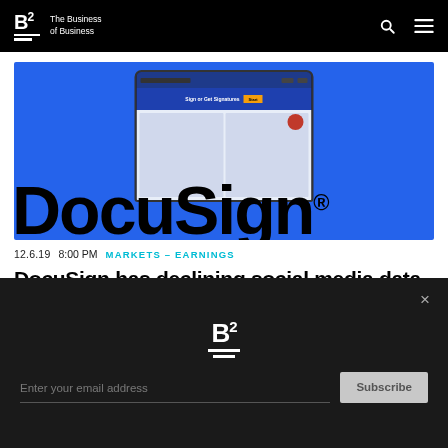B2 The Business of Business
[Figure (screenshot): DocuSign website shown on a laptop screen over a blue background, with large DocuSign logo text in black overlaid on the image]
12.6.19  8:00 PM  MARKETS – EARNINGS
DocuSign has declining social media data,
[Figure (logo): B2 logo on dark overlay panel with email subscription form]
Enter your email address
Subscribe